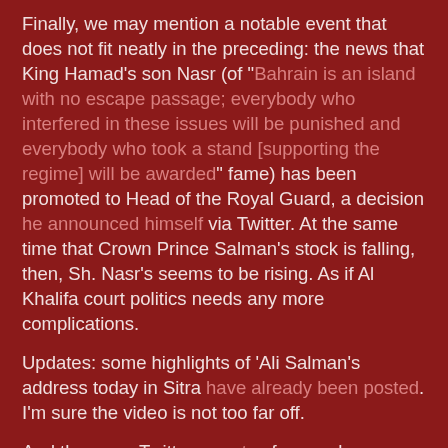some kind of quote run through name. [link text cut off]
Finally, we may mention a notable event that does not fit neatly in the preceding: the news that King Hamad's son Nasr (of "Bahrain is an island with no escape passage; everybody who interfered in these issues will be punished and everybody who took a stand [supporting the regime] will be awarded" fame) has been promoted to Head of the Royal Guard, a decision he announced himself via Twitter. At the same time that Crown Prince Salman's stock is falling, then, Sh. Nasr's seems to be rising. As if Al Khalifa court politics needs any more complications.
Updates: some highlights of 'Ali Salman's address today in Sitra have already been posted. I'm sure the video is not too far off.
And there are Twitter reports of a march tomorrow on the Prime Minister's Palace.
Update 2: an astute reader points out this al-'Arabiyyah article reporting that non-Bahraini ex-pats will also be invited to the national dialogue! Hell, why not? The chances of the